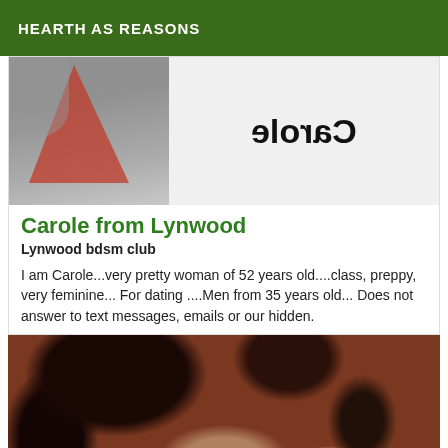HEARTH AS REASONS
[Figure (photo): Profile card image showing a person with a red/triangular shape on the left, and a mirrored 'Carole' logo text on the right side against a light background]
Carole from Lynwood
Lynwood bdsm club
I am Carole...very pretty woman of 52 years old....class, preppy, very feminine... For dating ....Men from 35 years old... Does not answer to text messages, emails or our hidden.
[Figure (photo): Close-up photo of the top/back of a woman's head with dark reddish-brown hair styled up, with lace visible at the bottom]